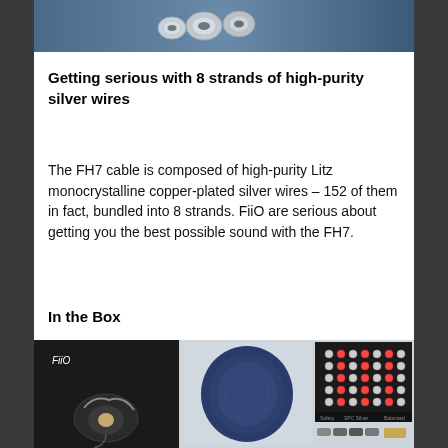[Figure (photo): Close-up photo of silver wire connectors/tips on a blue-grey background]
Getting serious with 8 strands of high-purity silver wires
The FH7 cable is composed of high-purity Litz monocrystalline copper-plated silver wires – 152 of them in fact, bundled into 8 strands. FiiO are serious about getting you the best possible sound with the FH7.
In the Box
[Figure (photo): Product photo showing FiiO FH7 in-ear monitors in box, blue leather carrying case, ear tip selection grid, and accessories]